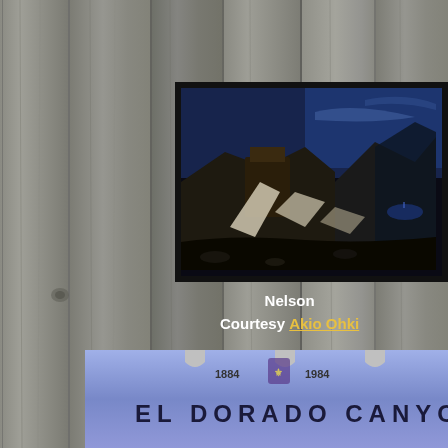[Figure (photo): Wood plank wall background filling the entire page]
[Figure (photo): Framed photograph of a mining ruin or desert structure at night with dark blue sky and rocky terrain, Nelson, courtesy Akio Ohki]
Nelson
Courtesy Akio Ohki
[Figure (photo): Partially visible vintage ticket or badge reading 'EL DORADO CANYON' with dates 1884 and 1984 and decorative notches along the top edge]